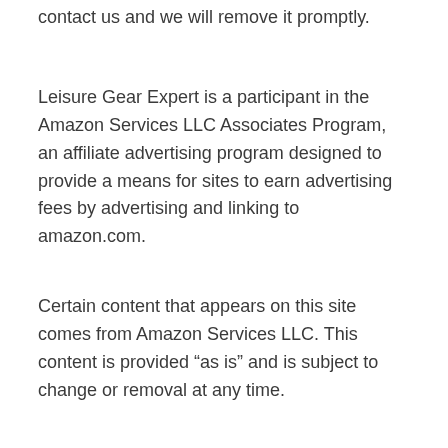contact us and we will remove it promptly.
Leisure Gear Expert is a participant in the Amazon Services LLC Associates Program, an affiliate advertising program designed to provide a means for sites to earn advertising fees by advertising and linking to amazon.com.
Certain content that appears on this site comes from Amazon Services LLC. This content is provided “as is” and is subject to change or removal at any time.